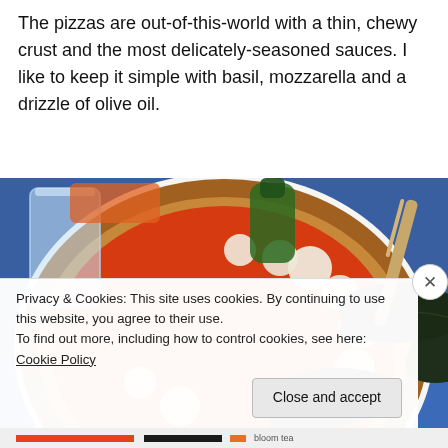The pizzas are out-of-this-world with a thin, chewy crust and the most delicately-seasoned sauces. I like to keep it simple with basil, mozzarella and a drizzle of olive oil.
[Figure (photo): A Margherita pizza on a white plate on a blue tablecloth, topped with tomato sauce, fresh mozzarella balls, and dark basil leaves. A water glass and green bottle are visible in the background.]
Privacy & Cookies: This site uses cookies. By continuing to use this website, you agree to their use.
To find out more, including how to control cookies, see here: Cookie Policy
bloom tea